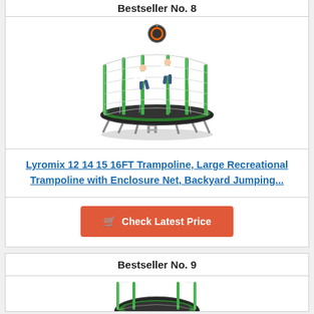Bestseller No. 8
[Figure (photo): Lyromix large trampoline with green poles, black safety enclosure net, basketball hoop, and two children jumping on it, with ladder attached]
Lyromix 12 14 15 16FT Trampoline, Large Recreational Trampoline with Enclosure Net, Backyard Jumping...
Check Latest Price
Bestseller No. 9
[Figure (photo): Partial view of a trampoline product (cropped at bottom of page)]